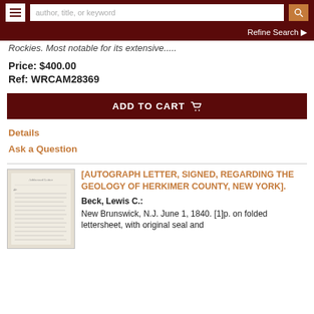author, title, or keyword | Refine Search
Rockies. Most notable for its extensive.....
Price: $400.00
Ref: WRCAM28369
ADD TO CART
Details
Ask a Question
[AUTOGRAPH LETTER, SIGNED, REGARDING THE GEOLOGY OF HERKIMER COUNTY, NEW YORK].
Beck, Lewis C.:
New Brunswick, N.J. June 1, 1840. [1]p. on folded lettersheet, with original seal and